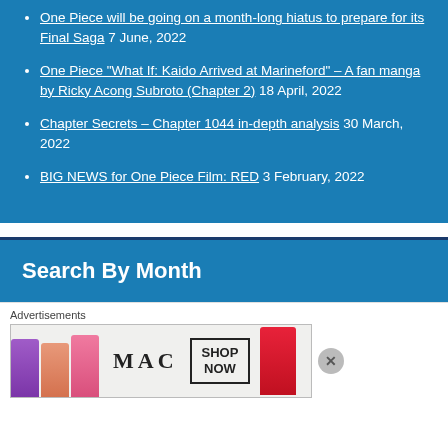One Piece will be going on a month-long hiatus to prepare for its Final Saga 7 June, 2022
One Piece “What If: Kaido Arrived at Marineford” – A fan manga by Ricky Acong Subroto (Chapter 2) 18 April, 2022
Chapter Secrets – Chapter 1044 in-depth analysis 30 March, 2022
BIG NEWS for One Piece Film: RED 3 February, 2022
Search By Month
Advertisements
[Figure (other): MAC cosmetics advertisement showing colourful lipsticks with MAC logo and SHOP NOW button]